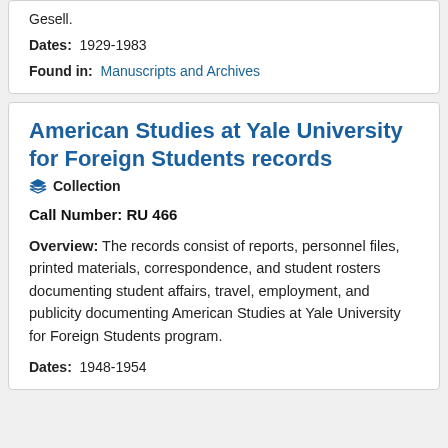Gesell.
Dates: 1929-1983
Found in: Manuscripts and Archives
American Studies at Yale University for Foreign Students records
Collection
Call Number: RU 466
Overview: The records consist of reports, personnel files, printed materials, correspondence, and student rosters documenting student affairs, travel, employment, and publicity documenting American Studies at Yale University for Foreign Students program.
Dates: 1948-1954